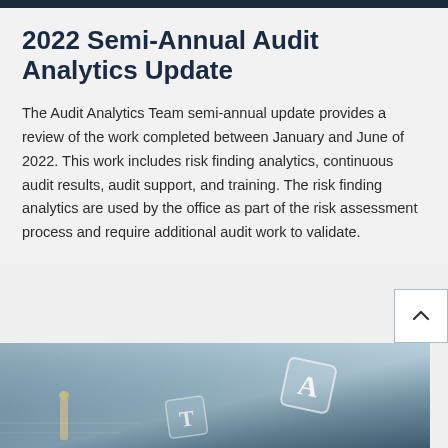2022 Semi-Annual Audit Analytics Update
The Audit Analytics Team semi-annual update provides a review of the work completed between January and June of 2022. This work includes risk finding analytics, continuous audit results, audit support, and training. The risk finding analytics are used by the office as part of the risk assessment process and require additional audit work to validate.
[Figure (photo): Photograph of audit-related materials on a desk, with letter dice showing 'A' and 'T' visible, blurred background with office/documents theme.]